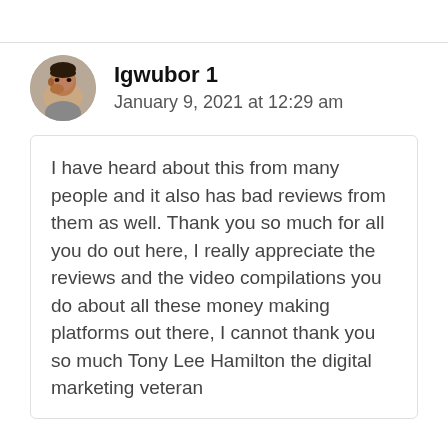[Figure (photo): Circular avatar photo of a man thinking, with hand near chin]
Igwubor 1
January 9, 2021 at 12:29 am
I have heard about this from many people and it also has bad reviews from them as well. Thank you so much for all you do out here, I really appreciate the reviews and the video compilations you do about all these money making platforms out there, I cannot thank you so much Tony Lee Hamilton the digital marketing veteran